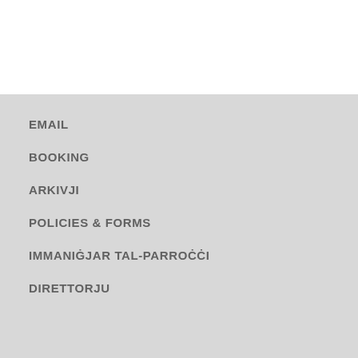EMAIL
BOOKING
ARKIVJI
POLICIES & FORMS
IMMANIĠJAR TAL-PARROĊĊI
DIRETTORJU